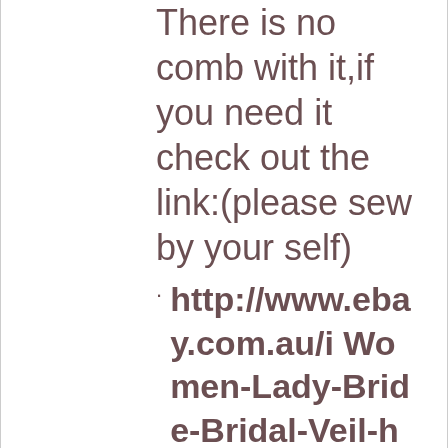There is no comb with it,if you need it check out the link:(please sew by your self)
http://www.ebay.com.au/i Women-Lady-Bride-Bridal-Veil-hair-head-Comb-/251333749680?pt=AU_Wedding_Clothin